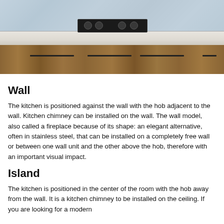[Figure (photo): Kitchen counter with wooden cabinets, a dark gas hob on a white/marble countertop, and a textured blue-grey backsplash. Various kitchen items visible on the counter.]
Wall
The kitchen is positioned against the wall with the hob adjacent to the wall. Kitchen chimney can be installed on the wall. The wall model, also called a fireplace because of its shape: an elegant alternative, often in stainless steel, that can be installed on a completely free wall or between one wall unit and the other above the hob, therefore with an important visual impact.
Island
The kitchen is positioned in the center of the room with the hob away from the wall. It is a kitchen chimney to be installed on the ceiling. If you are looking for a modern